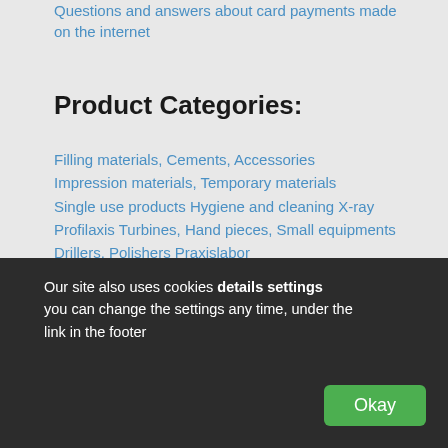Questions and answers about card payments made on the internet
Product Categories:
Filling materials, Cements, Accessories
Impression materials, Temporary materials
Single use products Hygiene and cleaning X-ray
Profilaxis Turbines, Hand pieces, Small equipments Drillers, Polishers Praxislabor
Medication Implantology Endodontics Labor
Other dental products Special Offers
Top Manufacturers:
Our site also uses cookies details settings you can change the settings any time, under the link in the footer